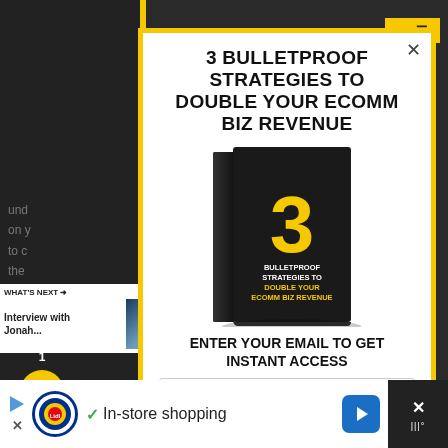[Figure (screenshot): Screenshot of a website popup/modal promoting an ecommerce business ebook, with background page content partially visible]
3 BULLETPROOF STRATEGIES TO DOUBLE YOUR ECOMM BIZ REVENUE
[Figure (photo): 3D book cover showing '3 BULLETPROOF STRATEGIES TO DOUBLE YOUR ECOMM BIZ REVENUE' with number 3 in yellow on black cover]
ENTER YOUR EMAIL TO GET INSTANT ACCESS
Email
WHAT'S NEXT → Interview with Jonah...
In-store shopping